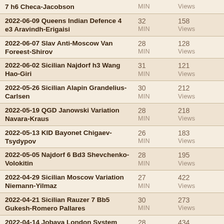| Title | MIN | Views |
| --- | --- | --- |
| 7 h6 Checa-Jacobson | MIN | Views |
| 2022-06-09 Queens Indian Defence 4 e3 Aravindh-Erigaisi | 32 MIN | 158 Views |
| 2022-06-07 Slav Anti-Moscow Van Foreest-Shirov | 28 MIN | 128 Views |
| 2022-06-02 Sicilian Najdorf h3 Wang Hao-Giri | 31 MIN | 121 Views |
| 2022-05-26 Sicilian Alapin Grandelius-Carlsen | 30 MIN | 212 Views |
| 2022-05-19 QGD Janowski Variation Navara-Kraus | 28 MIN | 218 Views |
| 2022-05-13 KID Bayonet Chigaev-Tsydypov | 26 MIN | 183 Views |
| 2022-05-05 Najdorf 6 Bd3 Shevchenko-Volokitin | 28 MIN | 195 Views |
| 2022-04-29 Sicilian Moscow Variation Niemann-Yilmaz | 27 MIN | 422 Views |
| 2022-04-21 Sicilian Rauzer 7 Bb5 Gukesh-Romero Pallares | 30 MIN | 273 Views |
| 2022-04-14 Jobava London System Niemann-Thorhallsson | 28 MIN | 434 Views |